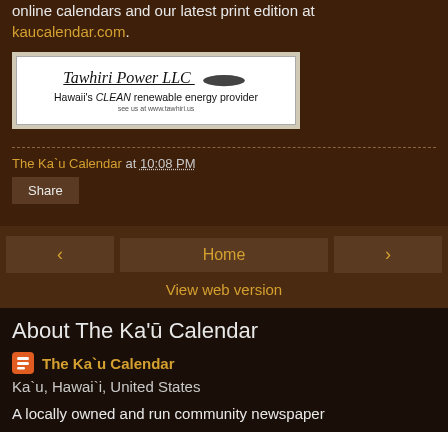online calendars and our latest print edition at kaucalendar.com.
[Figure (illustration): Advertisement for Tawhiri Power LLC — Hawaii's CLEAN renewable energy provider, with logo and tagline, white background with border]
The Ka`u Calendar at 10:08 PM
Share
‹  Home  ›
View web version
About The Ka'ū Calendar
The Ka`u Calendar
Ka`u, Hawai`i, United States
A locally owned and run community newspaper